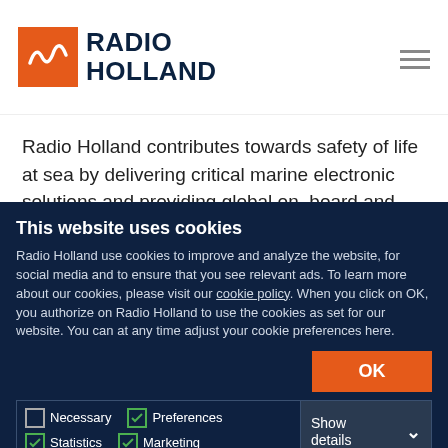[Figure (logo): Radio Holland logo with orange wave icon and dark blue text]
Radio Holland contributes towards safety of life at sea by delivering critical marine electronic solutions and providing global on-board and remote services. We are proud of our reputation as the leading global NavCom, Connectivity, Integration and Service & Maintenance
This website uses cookies
Radio Holland use cookies to improve and analyze the website, for social media and to ensure that you see relevant ads. To learn more about our cookies, please visit our cookie policy. When you click on OK, you authorize on Radio Holland to use the cookies as set for our website. You can at any time adjust your cookie preferences here.